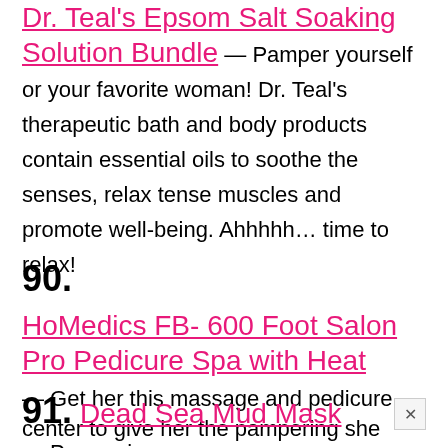Dr. Teal's Epsom Salt Soaking Solution Bundle — Pamper yourself or your favorite woman! Dr. Teal's therapeutic bath and body products contain essential oils to soothe the senses, relax tense muscles and promote well-being. Ahhhhh… time to relax!
90. HoMedics FB- 600 Foot Salon Pro Pedicure Spa with Heat — Get her this massage and pedicure center to give her the pampering she deserves!
91. Dead Sea Mud Mask — Pampering yourself has never been so easy. No need to go to